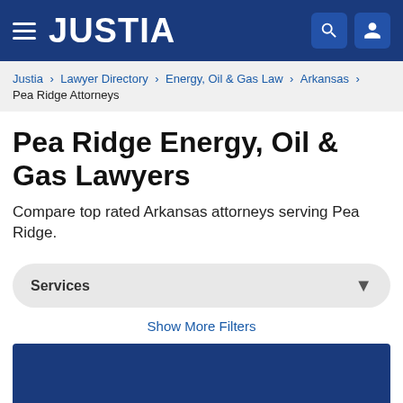JUSTIA
Justia › Lawyer Directory › Energy, Oil & Gas Law › Arkansas › Pea Ridge Attorneys
Pea Ridge Energy, Oil & Gas Lawyers
Compare top rated Arkansas attorneys serving Pea Ridge.
Services
Show More Filters
Recent (0)
Saved (0)
Compare (0/3)